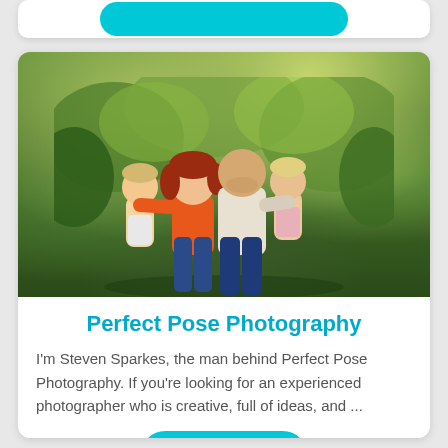[Figure (photo): Family portrait photo of two adults and two young children outdoors in a natural green setting. A man (bald, white shirt) holds two toddlers, and a woman (red hair, orange top) stands beside them. Lush green foliage in background.]
Perfect Pose Photography
I'm Steven Sparkes, the man behind Perfect Pose Photography. If you're looking for an experienced photographer who is creative, full of ideas, and ...
Explore